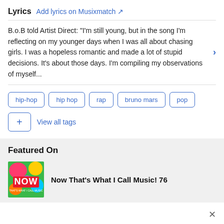Lyrics  Add lyrics on Musixmatch ↗
B.o.B told Artist Direct: "I'm still young, but in the song I'm reflecting on my younger days when I was all about chasing girls. I was a hopeless romantic and made a lot of stupid decisions. It's about those days. I'm compiling my observations of myself...
hip-hop
hip hop
rap
bruno mars
pop
View all tags
Featured On
Now That's What I Call Music! 76